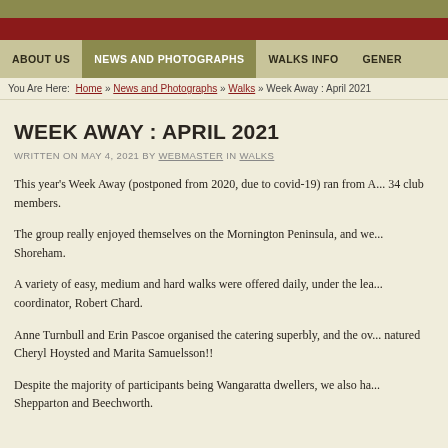ABOUT US | NEWS AND PHOTOGRAPHS | WALKS INFO | GENERAL
You Are Here: Home » News and Photographs » Walks » Week Away : April 2021
WEEK AWAY : APRIL 2021
WRITTEN ON MAY 4, 2021 BY WEBMASTER IN WALKS
This year's Week Away (postponed from 2020, due to covid-19) ran from A... 34 club members.
The group really enjoyed themselves on the Mornington Peninsula, and we... Shoreham.
A variety of easy, medium and hard walks were offered daily, under the lea... coordinator, Robert Chard.
Anne Turnbull and Erin Pascoe organised the catering superbly, and the ov... natured Cheryl Hoysted and Marita Samuelsson!!
Despite the majority of participants being Wangaratta dwellers, we also ha... Shepparton and Beechworth.